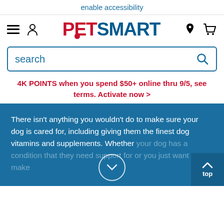enable accessibility
[Figure (logo): PetSmart logo with hamburger menu, user icon, location pin, and cart icons in navigation bar]
search
4K POINTS when you spend $50+ online thru 9/5, see terms. Activate now >
There isn't anything you wouldn't do to make sure your dog is cared for, including giving them the finest dog vitamins and supplements. Whether your dog has a condition that they need support for or you just want to make